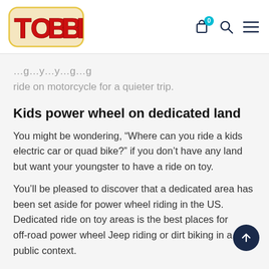TOBBI logo with cart, search, and menu icons
ride on motorcycle for a quieter trip.
Kids power wheel on dedicated land
You might be wondering, “Where can you ride a kids electric car or quad bike?” if you don’t have any land but want your youngster to have a ride on toy.
You’ll be pleased to discover that a dedicated area has been set aside for power wheel riding in the US. Dedicated ride on toy areas is the best places for off-road power wheel Jeep riding or dirt biking in a public context.
Woods, inclines and declines, muddy areas, slopes, big